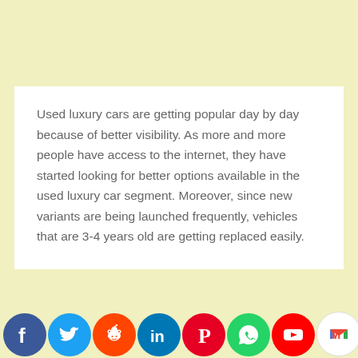Used luxury cars are getting popular day by day because of better visibility. As more and more people have access to the internet, they have started looking for better options available in the used luxury car segment. Moreover, since new variants are being launched frequently, vehicles that are 3-4 years old are getting replaced easily.
[Figure (infographic): Social media sharing icons: Facebook, Twitter, Reddit, LinkedIn, Pinterest, WhatsApp, YouTube, Gmail, Instagram, Messenger, Yahoo with an upward arrow badge]